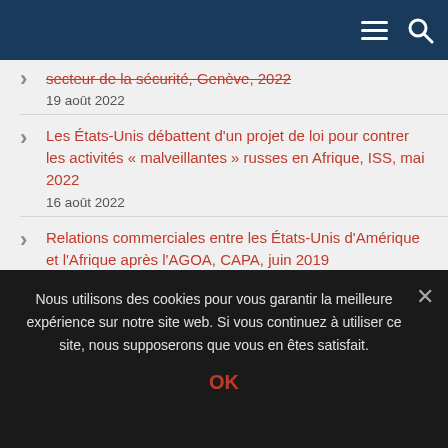Navigation bar with menu and search icons
secteur de la sécurité, Genève, 2022 — 19 août 2022
Les États-Unis débattent d'un projet de loi pour contrer les activités « malveillantes » russes en Afrique, ISS, mai 2022 — 16 août 2022
Relations commerciales entre les États-Unis d'Amérique et l'Afrique après l'AGOA, CAPA, juin 2019 — 16 août 2022
La stratégie américaine dans la Corne de l'Afrique
Nous utilisons des cookies pour vous garantir la meilleure expérience sur notre site web. Si vous continuez à utiliser ce site, nous supposerons que vous en êtes satisfait.
OK